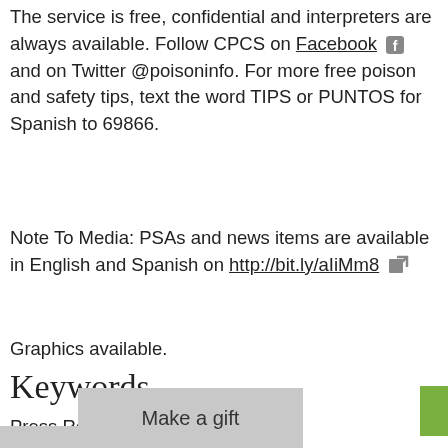The service is free, confidential and interpreters are always available. Follow CPCS on Facebook and on Twitter @poisoninfo. For more free poison and safety tips, text the word TIPS or PUNTOS for Spanish to 69866.
Note To Media: PSAs and news items are available in English and Spanish on http://bit.ly/aIiMm8
Graphics available.
Keywords
Press Releases